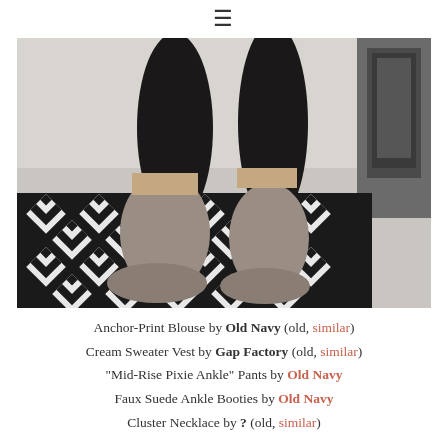≡
[Figure (photo): Close-up photo of a person's legs wearing black skinny pants and taupe/grey faux suede ankle booties, standing on a black and white diamond-pattern rug with a grey carpet and dark metal furniture in the background.]
Anchor-Print Blouse by Old Navy (old, similar)
Cream Sweater Vest by Gap Factory (old, similar)
"Mid-Rise Pixie Ankle" Pants by Old Navy
Faux Suede Ankle Booties by Old Navy
Cluster Necklace by ? (old, similar)